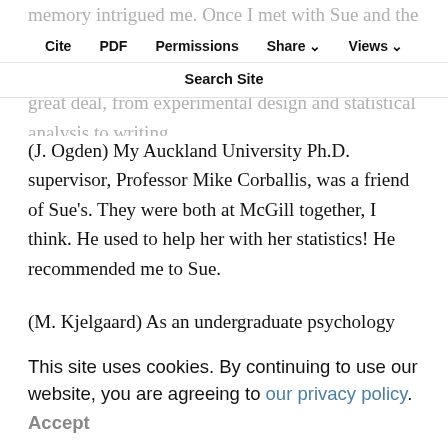memory intrigued me. Once I met with Sue and the people in her lab, I knew it was a place I could learn a great deal, from experimental design and statistical analysis to writing.
Cite | PDF | Permissions | Share | Views | Search Site
(J. Ogden) My Auckland University Ph.D. supervisor, Professor Mike Corballis, was a friend of Sue's. They were both at McGill together, I think. He used to help her with her statistics! He recommended me to Sue.
(M. Kjelgaard) As an undergraduate psychology major from a state school, I didn't have a lot of great options for careers. I knew that I wanted to “go to graduate school,” but coming from a working class family and
This site uses cookies. By continuing to use our website, you are agreeing to our privacy policy. Accept